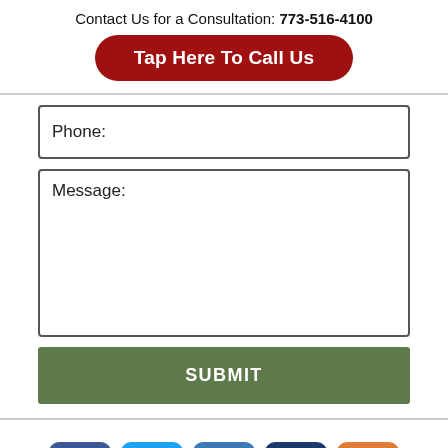Contact Us for a Consultation: 773-516-4100
Tap Here To Call Us
Phone:
Message:
SUBMIT
[Figure (infographic): Social media icon buttons: Facebook (blue), Twitter (light blue), LinkedIn (blue), Justia (dark blue), RSS feed (orange)]